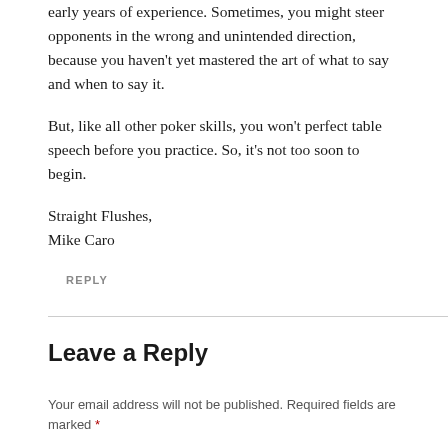early years of experience. Sometimes, you might steer opponents in the wrong and unintended direction, because you haven't yet mastered the art of what to say and when to say it.
But, like all other poker skills, you won't perfect table speech before you practice. So, it's not too soon to begin.
Straight Flushes,
Mike Caro
REPLY
Leave a Reply
Your email address will not be published. Required fields are marked *